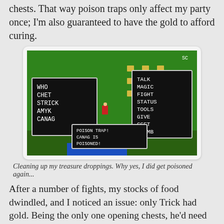chests. That way poison traps only affect my party once; I'm also guaranteed to have the gold to afford curing.
[Figure (screenshot): A retro NES video game screenshot showing a top-down RPG scene on a green map. Two UI windows show party member names (WHO, CHET, STRICK, AMYK, CANAG) and action options (TALK, MAGIC, FIGHT, STATUS, TOOLS, GIVE, GGET, CLIMB). A third dialog box reads: POISON TRAP! CANAG IS POISONED!]
Cleaning up my treasure droppings. Why yes, I did get poisoned again...
After a number of fights, my stocks of food dwindled, and I noticed an issue: only Trick had gold. Being the only one opening chests, he'd need to buy food for everyone, but there's no obvious option for that. Each character buys food only for themselves. Consulting the manual reveals options to evenly disperse food and transfer gold between characters. So, I pull up the menu, and nothing. I push left and right in the menu, and nothing. Start button, nothing; select button, ah finally. (One good thing about the NES, it